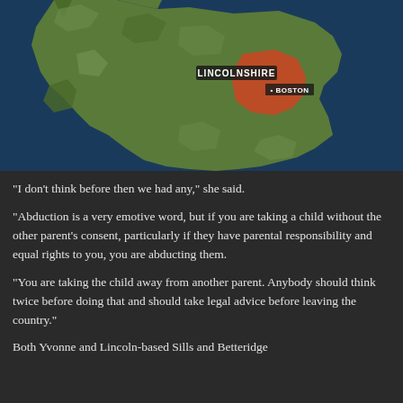[Figure (map): Map of England and Wales showing Lincolnshire county highlighted in red/orange, with labels for 'LINCOLNSHIRE' and 'BOSTON' marked on the map. Satellite/terrain style imagery.]
“I don’t think before then we had any,” she said.
“Abduction is a very emotive word, but if you are taking a child without the other parent’s consent, particularly if they have parental responsibility and equal rights to you, you are abducting them.
“You are taking the child away from another parent. Anybody should think twice before doing that and should take legal advice before leaving the country.”
Both Yvonne and Lincoln-based Sills and Betteridge